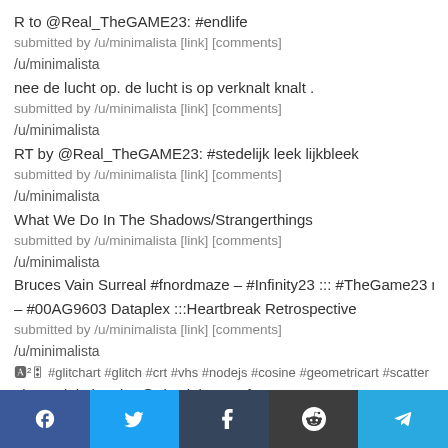R to @Real_TheGAME23: #endlife
submitted by /u/minimalista [link] [comments]
/u/minimalista
nee de lucht op. de lucht is op verknalt knalt .
submitted by /u/minimalista [link] [comments]
/u/minimalista
RT by @Real_TheGAME23: #stedelijk leek lijkbleek
submitted by /u/minimalista [link] [comments]
/u/minimalista
What We Do In The Shadows/Strangerthings
submitted by /u/minimalista [link] [comments]
/u/minimalista
Bruces Vain Surreal #fnordmaze – #Infinity23 ::: #TheGame23 mod 42.5 – #00AG9603 Dataplex :::Heartbreak Retrospective
submitted by /u/minimalista [link] [comments]
/u/minimalista
🅰²🎛 #glitchart #glitch #crt #vhs #nodejs #cosine #geometricart #scatter #bot Origin img by @aitsolabs 7Qz{x
submitted by /u/minimalista [link] [comments]
Facebook Twitter Tumblr Reddit Telegram